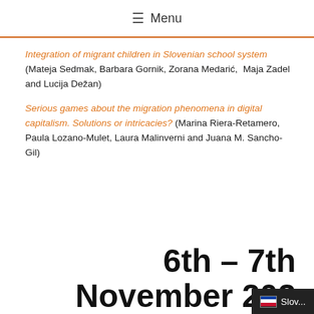≡ Menu
Integration of migrant children in Slovenian school system (Mateja Sedmak, Barbara Gornik, Zorana Medarić,  Maja Zadel and Lucija Dežan)
Serious games about the migration phenomena in digital capitalism. Solutions or intricacies? (Marina Riera-Retamero, Paula Lozano-Mulet, Laura Malinverni and Juana M. Sancho-Gil)
6th – 7th November 202…